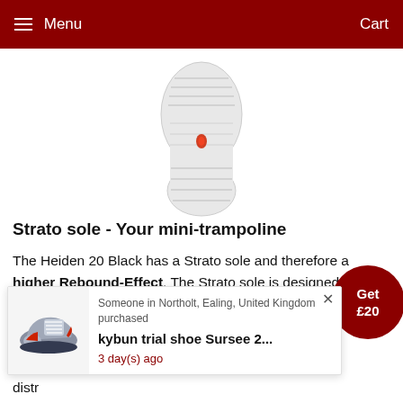Menu  Cart
[Figure (photo): Bottom view of a shoe sole (Strato sole), white/light grey color with tread pattern and a small red logo in the center, viewed from the top down on white background.]
Strato sole - Your mini-trampoline
The Heiden 20 Black has a Strato sole and therefore a higher Rebound-Effect. The Strato sole is designed to roll better in the backfoot area than previous kybun soles. This type of sole offers maximum effect as well as the ultimate in training performance and locomotion. The foot zone promotes distribution of energy across the entire foot elastic and misalignment and each pump brings grounding area to the ground ensures optimal grip on any surface.
[Figure (photo): Popup notification showing a kybun shoe (blue/grey/red sneaker) with text: Someone in Northolt, Ealing, United Kingdom purchased kybun trial shoe Sursee 2... 3 day(s) ago]
Someone in Northolt, Ealing, United Kingdom purchased kybun trial shoe Sursee 2... 3 day(s) ago